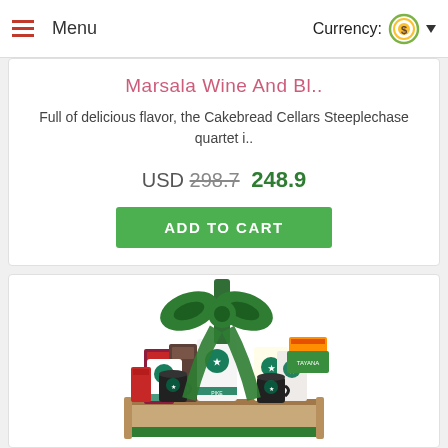Menu   Currency:
Marsala Wine And Bl..
Full of delicious flavor, the Cakebread Cellars Steeplechase quartet i..
USD 298.7 248.9
ADD TO CART
[Figure (photo): Starbucks gift basket with green ribbon bow, containing Starbucks coffee products, mugs, and snacks arranged in a brown crate with green band.]